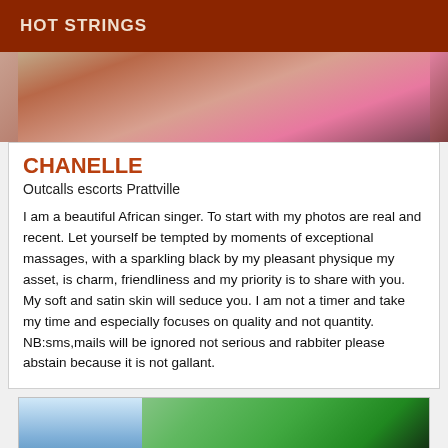HOT STRINGS
[Figure (photo): Partial photo of a person, cropped, with pink/warm tones in background]
CHANELLE
Outcalls escorts Prattville
I am a beautiful African singer. To start with my photos are real and recent. Let yourself be tempted by moments of exceptional massages, with a sparkling black by my pleasant physique my asset, is charm, friendliness and my priority is to share with you. My soft and satin skin will seduce you. I am not a timer and take my time and especially focuses on quality and not quantity. NB:sms,mails will be ignored not serious and rabbiter please abstain because it is not gallant.
[Figure (photo): Photo showing euro banknotes fanned out with partial handwritten text visible on left side]